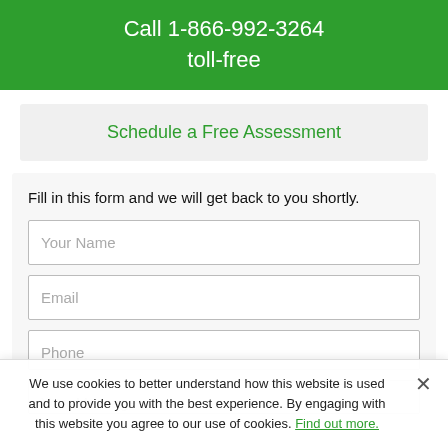Call 1-866-992-3264 toll-free
Schedule a Free Assessment
Fill in this form and we will get back to you shortly.
Your Name
Email
Phone
Your Message
We use cookies to better understand how this website is used and to provide you with the best experience. By engaging with this website you agree to our use of cookies. Find out more.